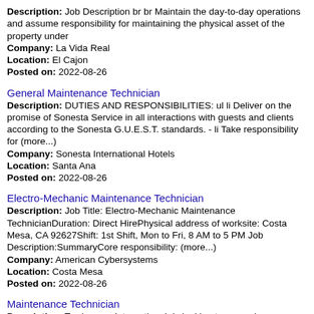Description: Job Description br br Maintain the day-to-day operations and assume responsibility for maintaining the physical asset of the property under
Company: La Vida Real
Location: El Cajon
Posted on: 2022-08-26
General Maintenance Technician
Description: DUTIES AND RESPONSIBILITIES: ul li Deliver on the promise of Sonesta Service in all interactions with guests and clients according to the Sonesta G.U.E.S.T. standards. - li Take responsibility for (more...)
Company: Sonesta International Hotels
Location: Santa Ana
Posted on: 2022-08-26
Electro-Mechanic Maintenance Technician
Description: Job Title: Electro-Mechanic Maintenance TechnicianDuration: Direct HirePhysical address of worksite: Costa Mesa, CA 92627Shift: 1st Shift, Mon to Fri, 8 AM to 5 PM Job Description:SummaryCore responsibility: (more...)
Company: American Cybersystems
Location: Costa Mesa
Posted on: 2022-08-26
Maintenance Technician
Description: Tradesmen International -is looking to expand our